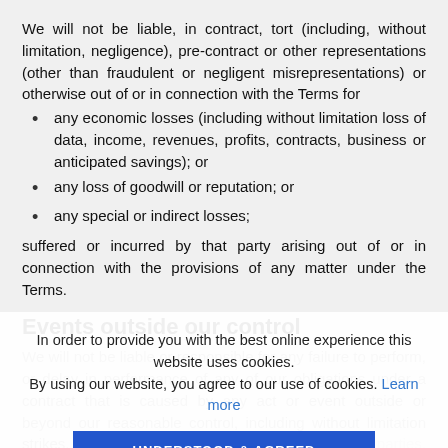We will not be liable, in contract, tort (including, without limitation, negligence), pre-contract or other representations (other than fraudulent or negligent misrepresentations) or otherwise out of or in connection with the Terms for
any economic losses (including without limitation loss of data, income, revenues, profits, contracts, business or anticipated savings); or
any loss of goodwill or reputation; or
any special or indirect losses;
suffered or incurred by that party arising out of or in connection with the provisions of any matter under the Terms.
Events outside our control
We will not be liable or responsible for any failure to perform, or delay in performance of any of our obligations under a contract that is caused by any act or event outside or beyond our reasonable control, including without limitation strikes, lock-outs or other industrial action by third parties, civil commotion, riot, invasion, ter...                ...against attack, war...